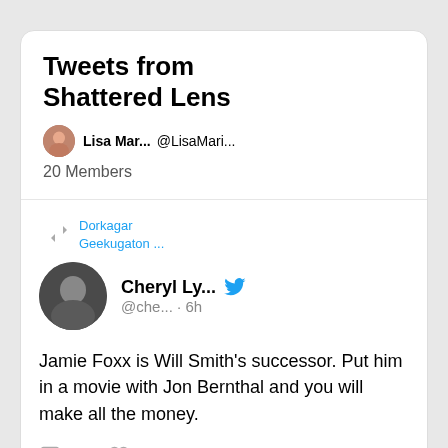Tweets from Shattered Lens
Lisa Mar... @LisaMari...
20 Members
Dorkagar Geekugaton ...
Cheryl Ly... @che... · 6h
Jamie Foxx is Will Smith's successor. Put him in a movie with Jon Bernthal and you will make all the money.
3
31
Dorkagar Geekugaton ...
Luciano